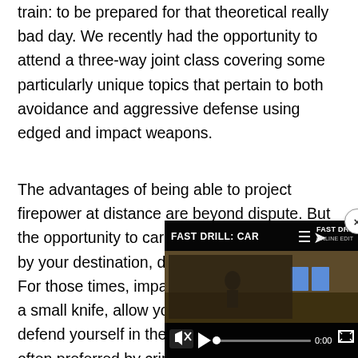train: to be prepared for that theoretical really bad day. We recently had the opportunity to attend a three-way joint class covering some particularly unique topics that pertain to both avoidance and aggressive defense using edged and impact weapons.
The advantages of being able to project firepower at distance are beyond dispute. But the opportunity to carry is sometimes restricted by your destination, daily routine, or local law. For those times, impact weapons like a small knife, allow you to defend yourself in the clos often preferred by criminal
[Figure (screenshot): Embedded video player overlay showing 'FAST DRILL: CAR...' with playback controls, mute icon, progress bar at 0:00, and close button]